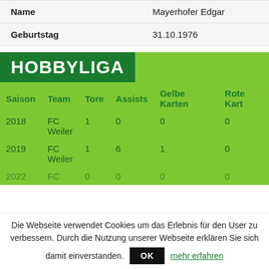|  |  |
| --- | --- |
| Name | Mayerhofer Edgar |
| Geburtstag | 31.10.1976 |
HOBBYLIGA
| Saison | Team | Tore | Assists | Gelbe Karten | Rote Karten |
| --- | --- | --- | --- | --- | --- |
| 2018 | FC Weiler | 1 | 0 | 0 | 0 |
| 2019 | FC Weiler | 1 | 6 | 1 | 0 |
| 2022 | FC | 0 | 0 | 0 | 0 |
Die Webseite verwendet Cookies um das Erlebnis für den User zu verbessern. Durch die Nutzung unserer Webseite erklären Sie sich damit einverstanden.
OK
mehr erfahren